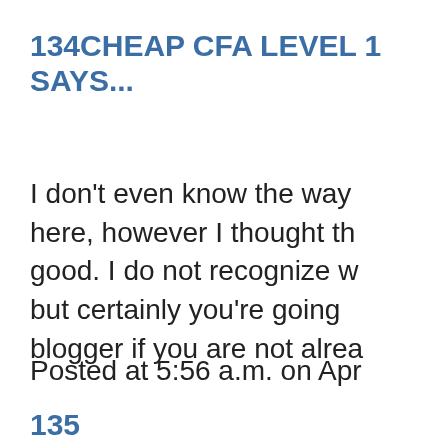134CHEAP CFA LEVEL 1 SAYS...
I don't even know the way I ended up here, however I thought this post was good. I do not recognize who you are but certainly you're going to a famous blogger if you are not already.
Posted at 5:56 a.m. on Apr
135 ...